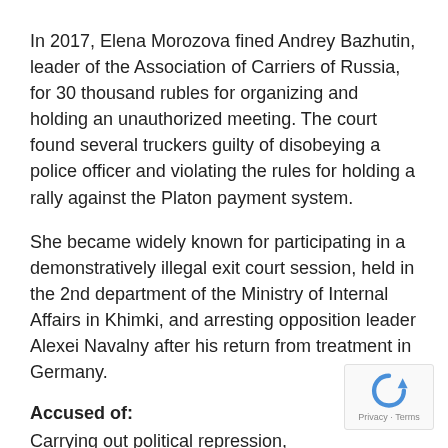In 2017, Elena Morozova fined Andrey Bazhutin, leader of the Association of Carriers of Russia, for 30 thousand rubles for organizing and holding an unauthorized meeting. The court found several truckers guilty of disobeying a police officer and violating the rules for holding a rally against the Platon payment system.
She became widely known for participating in a demonstratively illegal exit court session, held in the 2nd department of the Ministry of Internal Affairs in Khimki, and arresting opposition leader Alexei Navalny after his return from treatment in Germany.
Accused of:
Carrying out political repression, destruction of the constitutional norms of law in Russia.